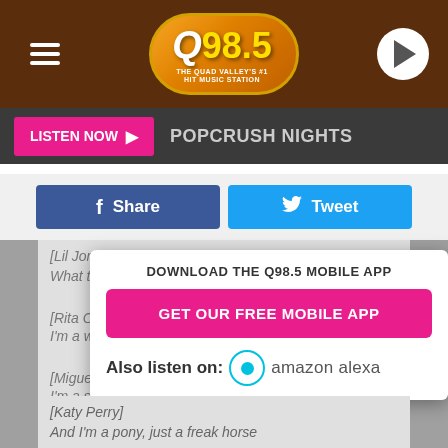[Figure (screenshot): Q98.5 radio station header with logo, hamburger menu, and play button on brown/orange background]
LISTEN NOW ▶  POPCRUSH NIGHTS
Share   Tweet
[Lil Jon]
What the f—? I'm a clam!
[Rita Ora]
I'm a wolf. Howl
DOWNLOAD THE Q98.5 MOBILE APP
GET OUR FREE MOBILE APP
Also listen on:  amazon alexa
[Miguel]
I'm a squirrely
[Katy Perry]
And I'm a pony, just a freak horse